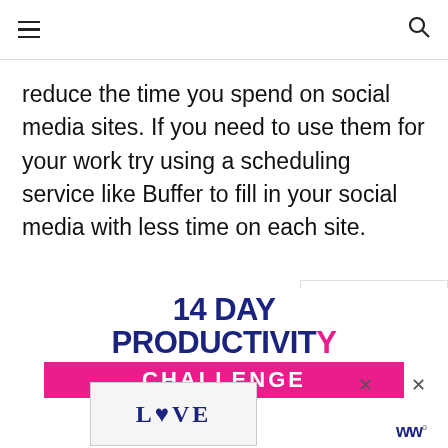☰  🔍
reduce the time you spend on social media sites. If you need to use them for your work try using a scheduling service like Buffer to fill in your social media with less time on each site.
[Figure (infographic): 14 DAY PRODUCTIVITY CHALLENGE promotional banner advertisement with pink/dark blue text]
[Figure (infographic): LOVE decorative graphic image at the bottom of the page]
[Figure (infographic): WHAT'S NEXT - Weekly Wednesday... sidebar promo widget]